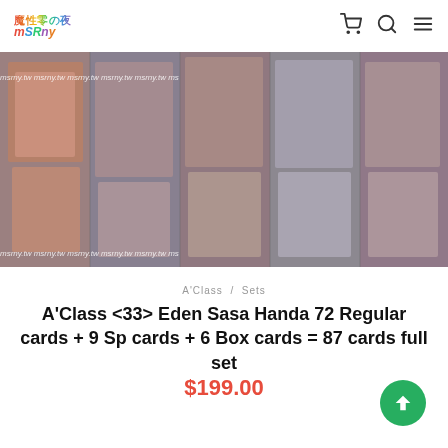魔性零の夜 MSRNY — navigation bar with cart, search, and menu icons
[Figure (photo): Product image showing multiple trading cards featuring Eden Sasa Handa; watermark 'msrny.tw' repeated across top and bottom of image]
A'Class / Sets
A'Class <33> Eden Sasa Handa 72 Regular cards + 9 Sp cards + 6 Box cards = 87 cards full set
$199.00